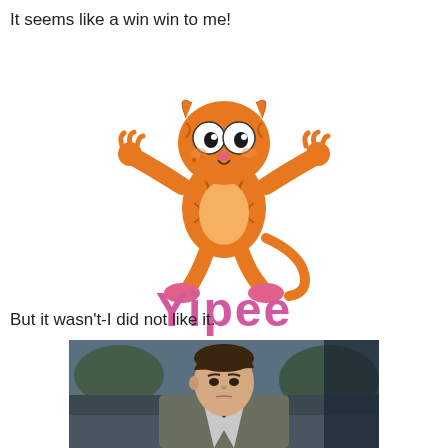It seems like a win win to me!
[Figure (illustration): Garfield cartoon cat dancing joyfully with arms spread wide, with pink 'Yipee' text below]
But it wasn't-I did not like it.
[Figure (photo): A young man in a suit jacket and bow tie standing outdoors with a slightly displeased expression, blurred background]